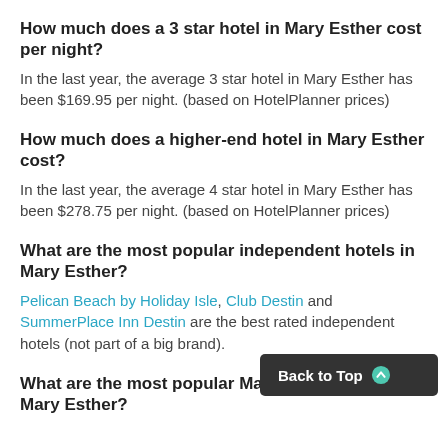How much does a 3 star hotel in Mary Esther cost per night?
In the last year, the average 3 star hotel in Mary Esther has been $169.95 per night. (based on HotelPlanner prices)
How much does a higher-end hotel in Mary Esther cost?
In the last year, the average 4 star hotel in Mary Esther has been $278.75 per night. (based on HotelPlanner prices)
What are the most popular independent hotels in Mary Esther?
Pelican Beach by Holiday Isle, Club Destin and SummerPlace Inn Destin are the best rated independent hotels (not part of a big brand).
What are the most popular Marriott hotels in Mary Esther?